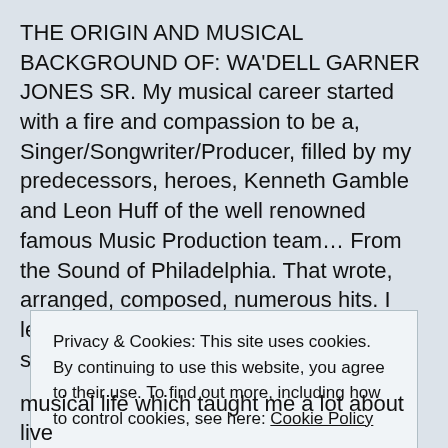THE ORIGIN AND MUSICAL BACKGROUND OF: WA'DELL GARNER JONES SR. My musical career started with a fire and compassion to be a, Singer/Songwriter/Producer, filled by my predecessors, heroes, Kenneth Gamble and Leon Huff of the well renowned famous Music Production team… From the Sound of Philadelphia. That wrote, arranged, composed, numerous hits. I learned my musical craft and singing skills from
Privacy & Cookies: This site uses cookies. By continuing to use this website, you agree to their use. To find out more, including how to control cookies, see here: Cookie Policy
Close and accept
musical life which taught me a lot about live